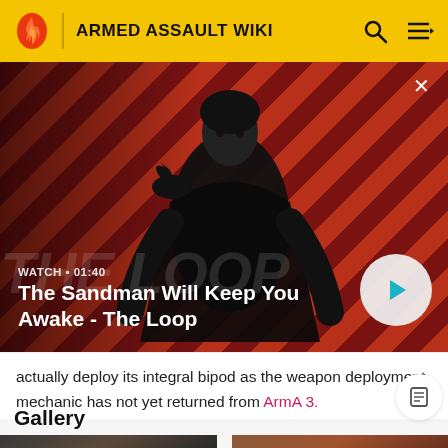ARMED ASSAULT WIKI
[Figure (screenshot): Video thumbnail showing a dark-robed figure with a crow on shoulder against a red diagonal stripe background. Title 'The Sandman Will Keep You Awake - The Loop' with WATCH • 01:40 label and a play button.]
actually deploy its integral bipod as the weapon deployment mechanic has not yet returned from ArmA 3.
Gallery